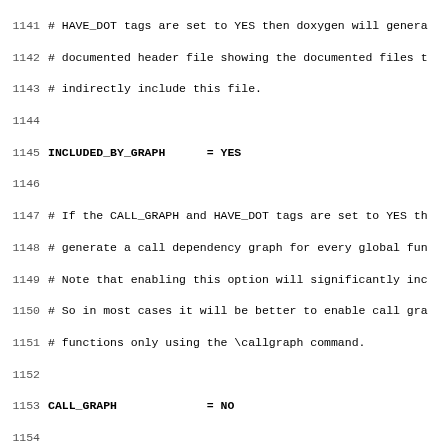Code/config block showing doxygen configuration file lines 1141-1172+, including settings for INCLUDED_BY_GRAPH, CALL_GRAPH, CALLER_GRAPH, GRAPHICAL_HIERARCHY, and DIRECTORY_GRAPH